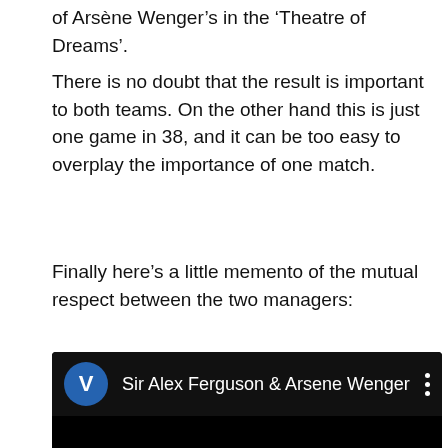of Arsène Wenger's in the 'Theatre of Dreams'.
There is no doubt that the result is important to both teams. On the other hand this is just one game in 38, and it can be too easy to overplay the importance of one match.
Finally here's a little memento of the mutual respect between the two managers:
[Figure (screenshot): Video thumbnail showing a YouTube-style video titled 'Sir Alex Ferguson & Arsene Wenger' with a blue circle avatar with the letter V, and a black video body area.]